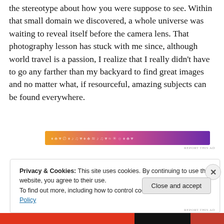the stereotype about how you were suppose to see. Within that small domain we discovered, a whole universe was waiting to reveal itself before the camera lens. That photography lesson has stuck with me since, although world travel is a passion, I realize that I really didn't have to go any farther than my backyard to find great images and no matter what, if resourceful, amazing subjects can be found everywhere.
[Figure (other): A horizontal banner advertisement with an orange-to-purple gradient background containing decorative pattern elements and icons.]
Privacy & Cookies: This site uses cookies. By continuing to use this website, you agree to their use.
To find out more, including how to control cookies, see here: Cookie Policy
Close and accept